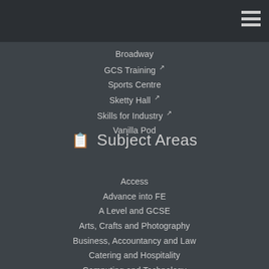Broadway
GCS Training [external link]
Sports Centre
Sketty Hall [external link]
Skills for Industry [external link]
Vanilla Pod
Subject Areas
Access
Advance into FE
A Level and GCSE
Arts, Crafts and Photography
Business, Accountancy and Law
Catering and Hospitality
Computing and Technology
Electronic Engineering
Electrical
Engineering
ESOL / Adult Basic Education